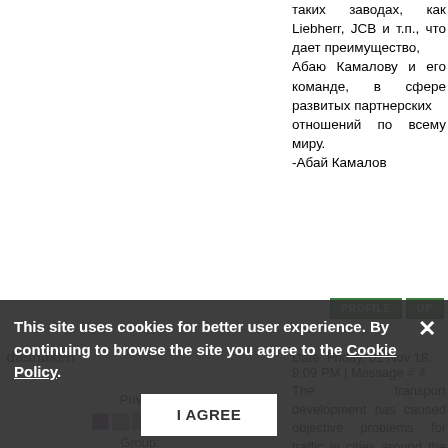таких заводах, как Liebherr, JCB и т.п., что дает преимущество,
Абаю Камалову и его команде, в сфере развитых партнерских
отношений по всему миру.
-Абай Камалов
PROFILE    UP
dashaken   Date: Friday, 02 Nov 18, 9:09 PM | Message # 4
Private
Group: Users
Messages: 18
Reputation: 0
Status: Online
The transport development has caused objective problems for traffic in cities around the world, including Latvia, and the reason for this is a rapid increase in the number of vehicles. Road congestion is the most urgent problem in a trip planning because it affects the total time of transportation and, therefore, costs that have a particular relevance to the logistics industry. The quality of the roads, a painful subject in the past, has a significant impact on transportation time. Without quality roads, it is impossible to improve the efficiency of transport, which, in the context of globalization, is said to be one of the main directions for the logistics
This site uses cookies for better user experience. By continuing to browse the site you agree to the Cookie Policy.
I AGREE